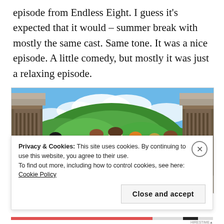episode from Endless Eight. I guess it's expected that it would – summer break with mostly the same cast. Same tone. It was a nice episode. A little comedy, but mostly it was just a relaxing episode.
[Figure (photo): Anime screenshot showing a group of anime characters standing outdoors in front of wooden gates with a green forested hillside and blue sky with clouds in the background.]
Privacy & Cookies: This site uses cookies. By continuing to use this website, you agree to their use.
To find out more, including how to control cookies, see here: Cookie Policy